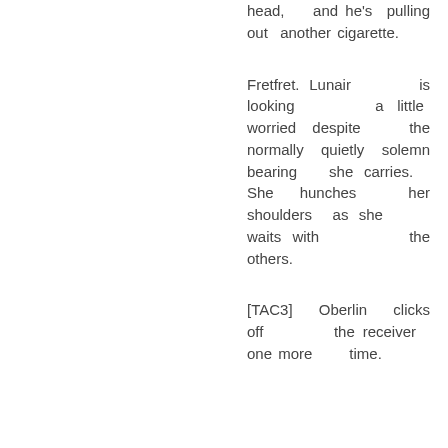head, and he's pulling out another cigarette.
Fretfret. Lunair is looking a little worried despite the normally quietly solemn bearing she carries. She hunches her shoulders as she waits with the others.
[TAC3] Oberlin clicks off the receiver one more time.